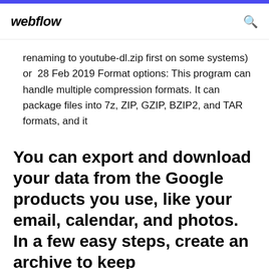webflow
renaming to youtube-dl.zip first on some systems) or  28 Feb 2019 Format options: This program can handle multiple compression formats. It can package files into 7z, ZIP, GZIP, BZIP2, and TAR formats, and it
You can export and download your data from the Google products you use, like your email, calendar, and photos. In a few easy steps, create an archive to keep